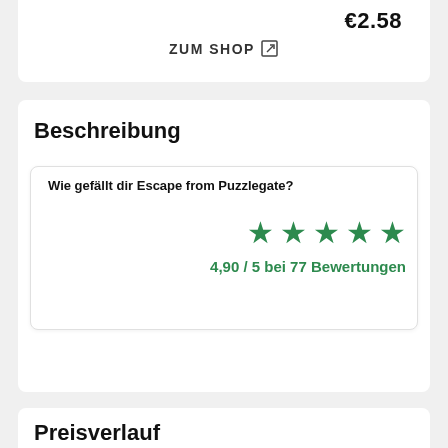€2.58
ZUM SHOP ↗
Beschreibung
Wie gefällt dir Escape from Puzzlegate?
4,90 / 5 bei 77 Bewertungen
Preisverlauf